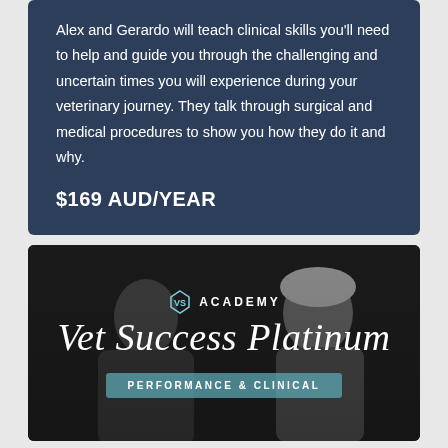Alex and Gerardo will teach clinical skills you'll need to help and guide you through the challenging and uncertain times you will experience during your veterinary journey. They talk through surgical and medical procedures to show you how they do it and why.
$169 AUD/YEAR
[Figure (photo): Black and white photo of two people (a man on the left and a woman on the right) with VS Academy logo and 'Vet Success Platinum' script title and 'PERFORMANCE & CLINICAL' badge overlaid on the image.]